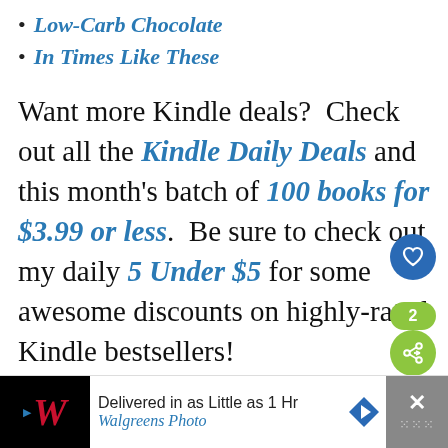Low-Carb Chocolate
In Times Like These
Want more Kindle deals?  Check out all the Kindle Daily Deals and this month's batch of 100 books for $3.99 or less.  Be sure to check out my daily 5 Under $5 for some awesome discounts on highly-rated Kindle bestsellers!
[Figure (other): Social media heart button (blue circle) and share button (green circle) with count 2]
[Figure (other): Advertisement bar: Walgreens Photo - Delivered in as Little as 1 Hr]